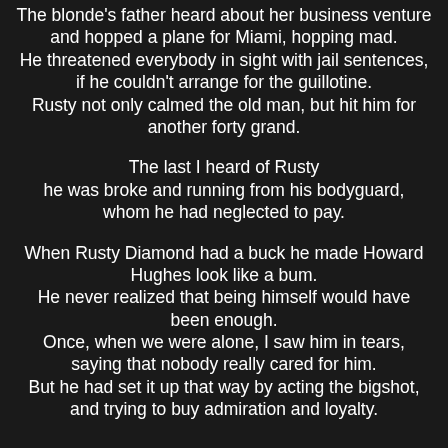The blonde's father heard about her business venture and hopped a plane for Miami, hopping mad. He threatened everybody in sight with jail sentences, if he couldn't arrange for the guillotine. Rusty not only calmed the old man, but hit him for another forty grand.
The last I heard of Rusty he was broke and running from his bodyguard, whom he had neglected to pay.
When Rusty Diamond had a buck he made Howard Hughes look like a bum. He never realized that being himself would have been enough. Once, when we were alone, I saw him in tears, saying that nobody really cared for him. But he had set it up that way by acting the bigshot, and trying to buy admiration and loyalty.